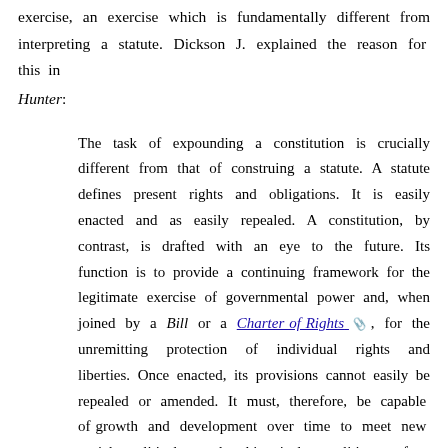exercise, an exercise which is fundamentally different from interpreting a statute. Dickson J. explained the reason for this in Hunter:
The task of expounding a constitution is crucially different from that of construing a statute. A statute defines present rights and obligations. It is easily enacted and as easily repealed. A constitution, by contrast, is drafted with an eye to the future. Its function is to provide a continuing framework for the legitimate exercise of governmental power and, when joined by a Bill or a Charter of Rights, for the unremitting protection of individual rights and liberties. Once enacted, its provisions cannot easily be repealed or amended. It must, therefore, be capable of growth and development over time to meet new social, political and historical realities often unimagined by its framers. The judiciary is the guardian of the